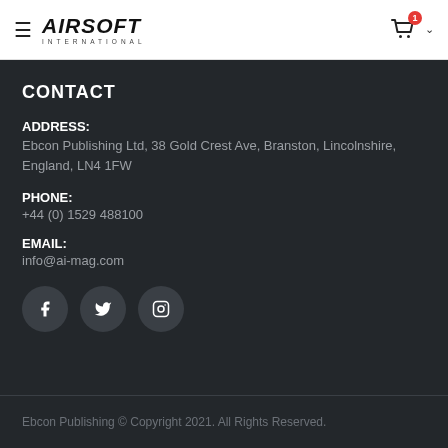AIRSOFT INTERNATIONAL — navigation header with cart
CONTACT
ADDRESS:
Ebcon Publishing Ltd, 38 Gold Crest Ave, Branston, Lincolnshire, England, LN4 1FW
PHONE:
+44 (0) 1529 488100
EMAIL:
info@ai-mag.com
[Figure (infographic): Social media icons: Facebook, Twitter, Instagram]
Ebcon Publishing © Copyright 2021. All Rights Reserved.